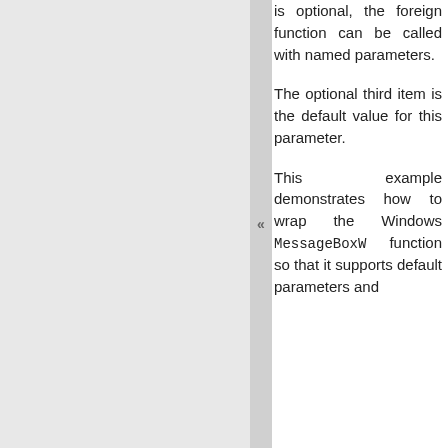is optional, the foreign function can be called with named parameters.
The optional third item is the default value for this parameter.
This example demonstrates how to wrap the Windows MessageBoxW function so that it supports default parameters and